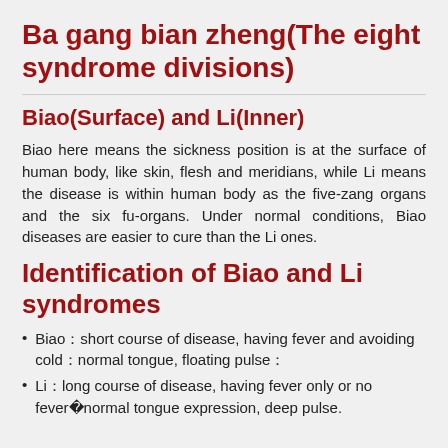Ba gang bian zheng(The eight syndrome divisions)
Biao(Surface) and Li(Inner)
Biao here means the sickness position is at the surface of human body, like skin, flesh and meridians, while Li means the disease is within human body as the five-zang organs and the six fu-organs. Under normal conditions, Biao diseases are easier to cure than the Li ones.
Identification of Biao and Li syndromes
Biao：short course of disease, having fever and avoiding cold；normal tongue, floating pulse；
Li：long course of disease, having fever only or no fever；abnormal tongue expression, deep pulse.